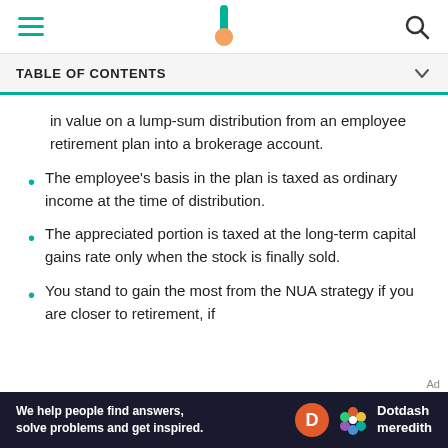TABLE OF CONTENTS
in value on a lump-sum distribution from an employee retirement plan into a brokerage account.
The employee's basis in the plan is taxed as ordinary income at the time of distribution.
The appreciated portion is taxed at the long-term capital gains rate only when the stock is finally sold.
You stand to gain the most from the NUA strategy if you are closer to retirement, if
[Figure (other): Advertisement banner for Dotdash Meredith with text: We help people find answers, solve problems and get inspired.]